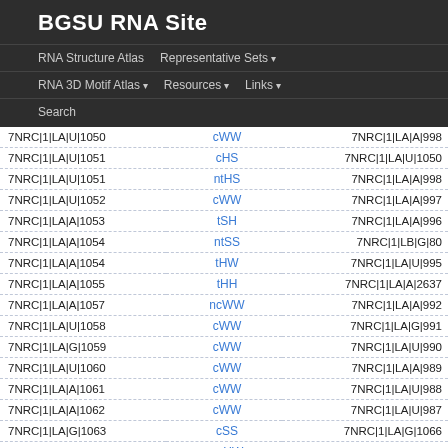BGSU RNA Site
RNA Structure Atlas | Representative Sets ▾ | RNA 3D Motif Atlas ▾ | Resources ▾ | Links ▾ | Search
| Nucleotide 1 | Interaction | Nucleotide 2 |
| --- | --- | --- |
| 7NRC|1|LA|U|1050 | cWW | 7NRC|1|LA|A|998 |
| 7NRC|1|LA|U|1051 | cHS | 7NRC|1|LA|U|1050 |
| 7NRC|1|LA|U|1051 | ntHS | 7NRC|1|LA|A|998 |
| 7NRC|1|LA|U|1052 | cWW | 7NRC|1|LA|A|997 |
| 7NRC|1|LA|A|1053 | tSH | 7NRC|1|LA|A|996 |
| 7NRC|1|LA|A|1054 | ntSS | 7NRC|1|LB|G|80 |
| 7NRC|1|LA|A|1054 | tHW | 7NRC|1|LA|U|995 |
| 7NRC|1|LA|A|1055 | tHH | 7NRC|1|LA|A|2637 |
| 7NRC|1|LA|A|1057 | ncWW | 7NRC|1|LA|A|992 |
| 7NRC|1|LA|U|1058 | cWW | 7NRC|1|LA|G|991 |
| 7NRC|1|LA|G|1059 | cWW | 7NRC|1|LA|U|990 |
| 7NRC|1|LA|U|1060 | cWW | 7NRC|1|LA|A|989 |
| 7NRC|1|LA|A|1061 | cWW | 7NRC|1|LA|U|988 |
| 7NRC|1|LA|A|1062 | cWW | 7NRC|1|LA|U|987 |
| 7NRC|1|LA|G|1063 | cSS | 7NRC|1|LA|G|1066 |
| 7NRC|1|LA|A|1064 | ncHW | 7NRC|1|LA|G|1097 |